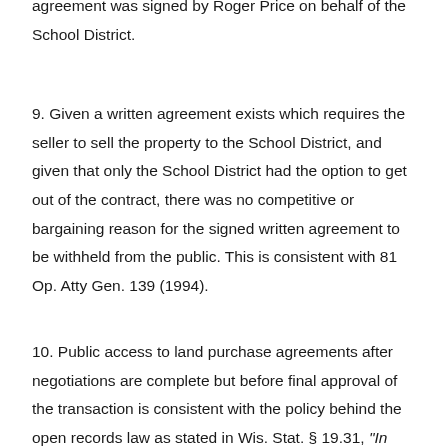agreement was signed by Roger Price on behalf of the School District.
9. Given a written agreement exists which requires the seller to sell the property to the School District, and given that only the School District had the option to get out of the contract, there was no competitive or bargaining reason for the signed written agreement to be withheld from the public. This is consistent with 81 Op. Atty Gen. 139 (1994).
10. Public access to land purchase agreements after negotiations are complete but before final approval of the transaction is consistent with the policy behind the open records law as stated in Wis. Stat. § 19.31, "In recognition of the